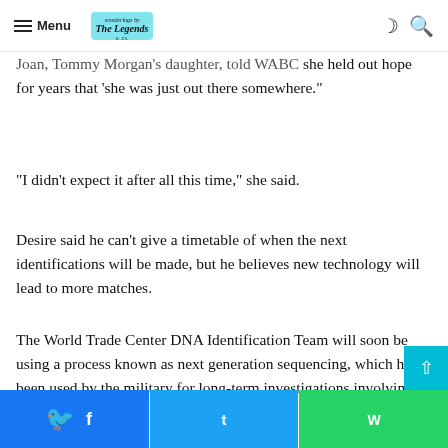Menu | The Legends [logo]
Joan, Tommy Morgan's daughter, told WABC she held out hope for years that 'she was just out there somewhere.'
“I didn’t expect it after all this time,” she said.
Desire said he can’t give a timetable of when the next identifications will be made, but he believes new technology will lead to more matches.
The World Trade Center DNA Identification Team will soon be using a process known as next generation sequencing, which has been used by the military for long-term investigations involving unknown victims.
Facebook | Twitter | WhatsApp